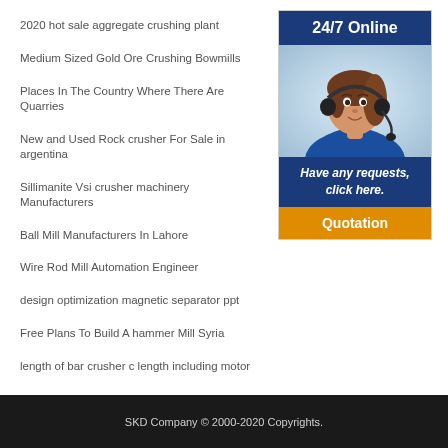2020 hot sale aggregate crushing plant
Medium Sized Gold Ore Crushing Bowmills
Places In The Country Where There Are Quarries
New and Used Rock crusher For Sale in argentina
Sillimanite Vsi crusher machinery Manufacturers
Ball Mill Manufacturers In Lahore
Wire Rod Mill Automation Engineer
design optimization magnetic separator ppt
Free Plans To Build A hammer Mill Syria
length of bar crusher c length including motor
[Figure (illustration): Customer service widget with 24/7 Online header, photo of woman with headset, 'Have any requests, click here.' text, and Quotation button]
SKD Company © 2000-2020 Copyrights.